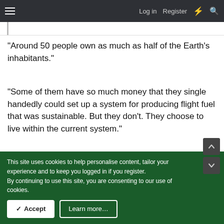Log in  Register
"Around 50 people own as much as half of the Earth's inhabitants."
"Some of them have so much money that they single handedly could set up a system for producing flight fuel that was sustainable. But they don't. They choose to live within the current system."
😕 David Baxter
This site uses cookies to help personalise content, tailor your experience and to keep you logged in if you register.
By continuing to use this site, you are consenting to our use of cookies.